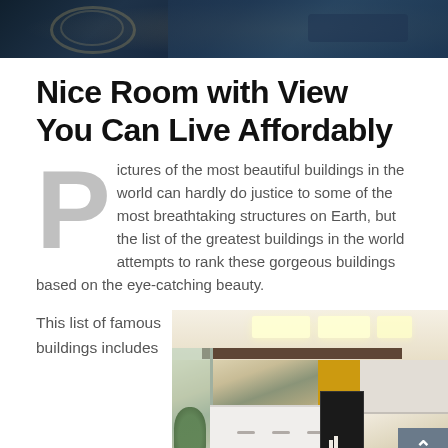[Figure (photo): Dark toned photo at top of page, appears to show mechanical or compass-like objects with metallic/blue tones]
Nice Room with View You Can Live Affordably
Pictures of the most beautiful buildings in the world can hardly do justice to some of the most breathtaking structures on Earth, but the list of the greatest buildings in the world attempts to rank these gorgeous buildings based on the eye-catching beauty.
This list of famous buildings includes
[Figure (photo): Interior photo of a modern kitchen with white cabinets, yellow accent wall, recessed ceiling lights, dark overhead beam, and black appliances]